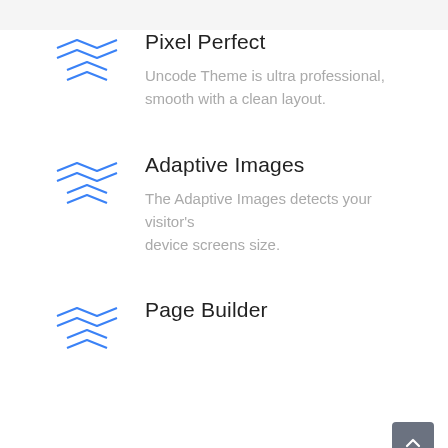[Figure (logo): Blue layered chevron/zigzag icon for Pixel Perfect]
Pixel Perfect
Uncode Theme is ultra professional, smooth with a clean layout.
[Figure (logo): Blue layered chevron/zigzag icon for Adaptive Images]
Adaptive Images
The Adaptive Images detects your visitor's device screens size.
[Figure (logo): Blue layered chevron/zigzag icon for Page Builder]
Page Builder